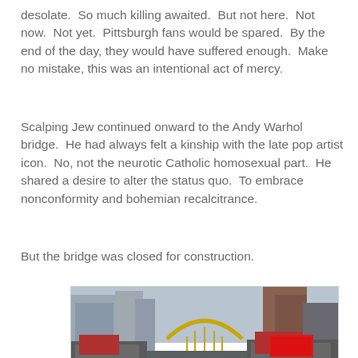desolate.  So much killing awaited.  But not here.  Not now.  Not yet.  Pittsburgh fans would be spared.  By the end of the day, they would have suffered enough.  Make no mistake, this was an intentional act of mercy.
Scalping Jew continued onward to the Andy Warhol bridge.  He had always felt a kinship with the late pop artist icon.  No, not the neurotic Catholic homosexual part.  He shared a desire to alter the status quo.  To embrace nonconformity and bohemian recalcitrance.
But the bridge was closed for construction.
[Figure (photo): Street-level photograph of a closed bridge with construction vehicles and barriers blocking the road, with city buildings and a yellow arch bridge structure visible in the background.]